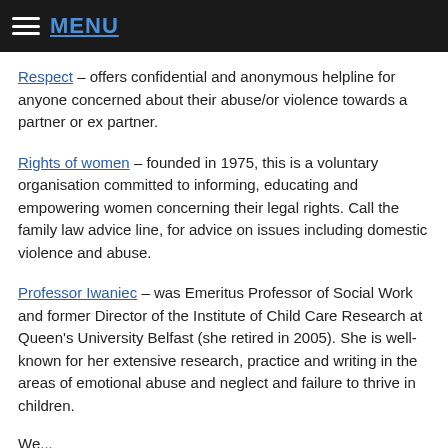MENU
Respect – offers confidential and anonymous helpline for anyone concerned about their abuse/or violence towards a partner or ex partner.
Rights of women – founded in 1975, this is a voluntary organisation committed to informing, educating and empowering women concerning their legal rights. Call the family law advice line, for advice on issues including domestic violence and abuse.
Professor Iwaniec – was Emeritus Professor of Social Work and former Director of the Institute of Child Care Research at Queen's University Belfast (she retired in 2005). She is well-known for her extensive research, practice and writing in the areas of emotional abuse and neglect and failure to thrive in children.
We...